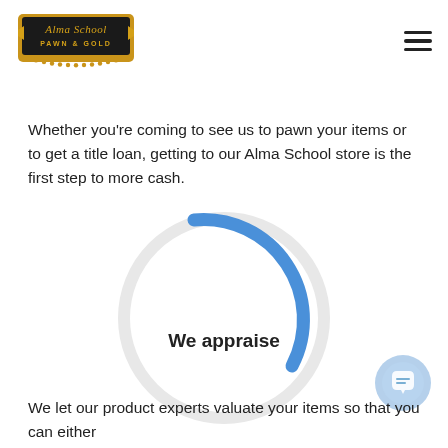[Figure (logo): Alma School Pawn & Gold logo — gold and black emblem with decorative border and beads]
Whether you're coming to see us to pawn your items or to get a title loan, getting to our Alma School store is the first step to more cash.
[Figure (infographic): Circular progress ring — a large light grey circle with a blue arc segment in the upper right quarter, centered, with 'We appraise' text inside]
We let our product experts valuate your items so that you can either